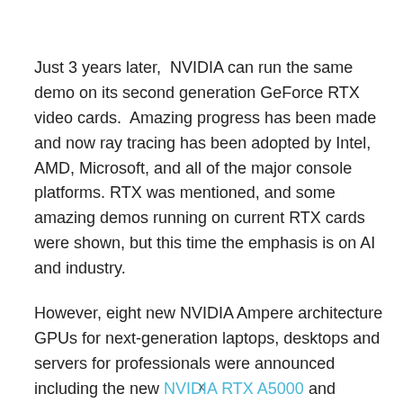Just 3 years later,  NVIDIA can run the same demo on its second generation GeForce RTX video cards.  Amazing progress has been made and now ray tracing has been adopted by Intel, AMD, Microsoft, and all of the major console platforms. RTX was mentioned, and some amazing demos running on current RTX cards were shown, but this time the emphasis is on AI and industry.
However, eight new NVIDIA Ampere architecture GPUs for next-generation laptops, desktops and servers for professionals were announced including the new NVIDIA RTX A5000 and NVIDIA RTX A4000 GPUs for desktops that feature
x